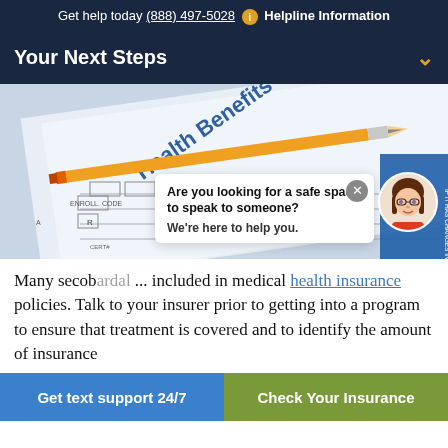Get help today (888) 497-5028  i  Helpline Information
Your Next Steps
[Figure (photo): A Health Benefits Claim Form with a yellow pencil resting on top of it, showing form fields and text.]
Are you looking for a safe space to speak to someone? We're here to help you.
Many secob... included in medical health insurance policies. Talk to your insurer prior to getting into a program to ensure that treatment is covered and to identify the amount of insurance
Get text support 24/7   Check Your Insurance